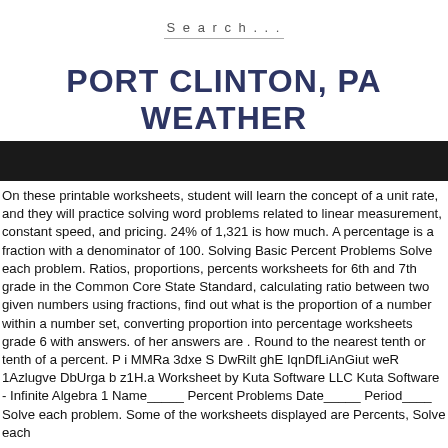Search...
PORT CLINTON, PA WEATHER
[Figure (other): Dark banner/image bar below the title]
On these printable worksheets, student will learn the concept of a unit rate, and they will practice solving word problems related to linear measurement, constant speed, and pricing. 24% of 1,321 is how much. A percentage is a fraction with a denominator of 100. Solving Basic Percent Problems Solve each problem. Ratios, proportions, percents worksheets for 6th and 7th grade in the Common Core State Standard, calculating ratio between two given numbers using fractions, find out what is the proportion of a number within a number set, converting proportion into percentage worksheets grade 6 with answers. of her answers are . Round to the nearest tenth or tenth of a percent. P i MMRa 3dxe S DwRilt ghE IqnDfLiAnGiut weR 1Azlugve DbUrga b z1H.a Worksheet by Kuta Software LLC Kuta Software - Infinite Algebra 1 Name_____ Percent Problems Date_____ Period____ Solve each problem. Some of the worksheets displayed are Percents, Solve each